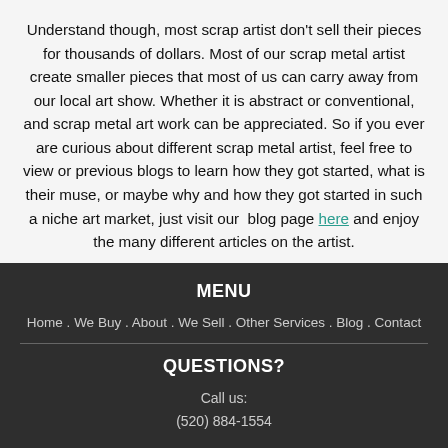Understand though, most scrap artist don't sell their pieces for thousands of dollars. Most of our scrap metal artist create smaller pieces that most of us can carry away from our local art show. Whether it is abstract or conventional, and scrap metal art work can be appreciated. So if you ever are curious about different scrap metal artist, feel free to view or previous blogs to learn how they got started, what is their muse, or maybe why and how they got started in such a niche art market, just visit our blog page here and enjoy the many different articles on the artist.
MENU
Home . We Buy . About . We Sell . Other Services . Blog . Contact
QUESTIONS?
Call us:
(520) 884-1554